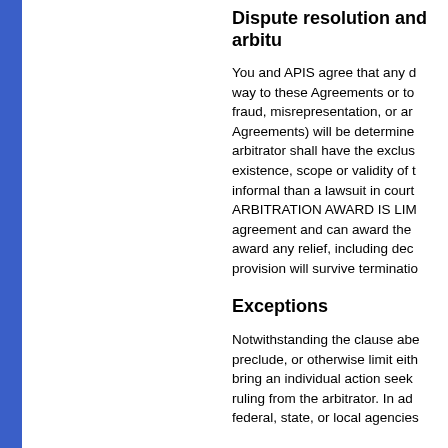Dispute resolution and arbitu
You and APIS agree that any d way to these Agreements or to fraud, misrepresentation, or ar Agreements) will be determine arbitrator shall have the exclus existence, scope or validity of t informal than a lawsuit in court ARBITRATION AWARD IS LIM agreement and can award the award any relief, including dec provision will survive terminatio
Exceptions
Notwithstanding the clause abe preclude, or otherwise limit eith bring an individual action seek ruling from the arbitrator. In ad federal, state, or local agencies
No Class Or Representative
YOU AND APIS AGREE THAT